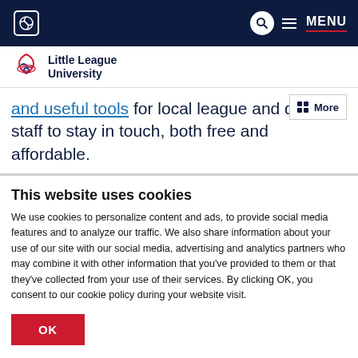Little League University — navigation header with logo, search, and MENU
[Figure (logo): Little League University logo with baseball diamond icon and text]
and useful tools for local league and district staff to stay in touch, both free and affordable.
This website uses cookies
We use cookies to personalize content and ads, to provide social media features and to analyze our traffic. We also share information about your use of our site with our social media, advertising and analytics partners who may combine it with other information that you've provided to them or that they've collected from your use of their services. By clicking OK, you consent to our cookie policy during your website visit.
OK